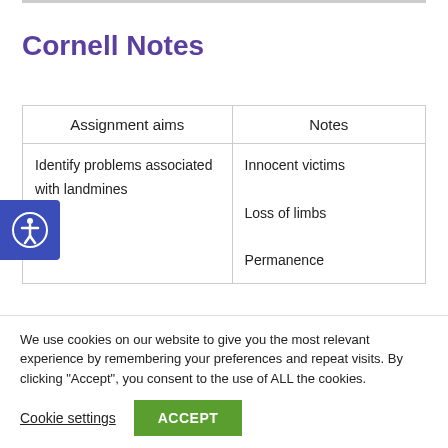Cornell Notes
| Assignment aims | Notes |
| --- | --- |
| Identify problems associated with landmines | Innocent victims

Loss of limbs

Permanence |
We use cookies on our website to give you the most relevant experience by remembering your preferences and repeat visits. By clicking “Accept”, you consent to the use of ALL the cookies.
Cookie settings
ACCEPT